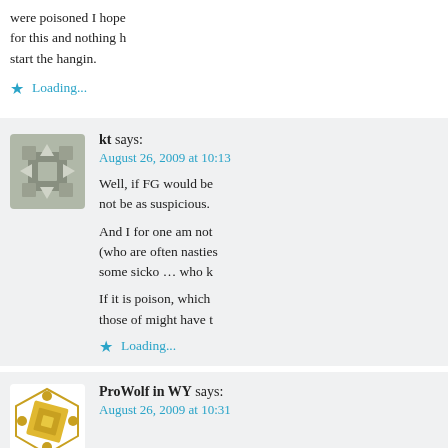were poisoned I hope for this and nothing h start the hangin.
Loading...
kt says: August 26, 2009 at 10:13
Well, if FG would be not be as suspicious. And I for one am not (who are often nasties some sicko … who k If it is poison, which those of might have t
Loading...
ProWolf in WY says: August 26, 2009 at 10:31